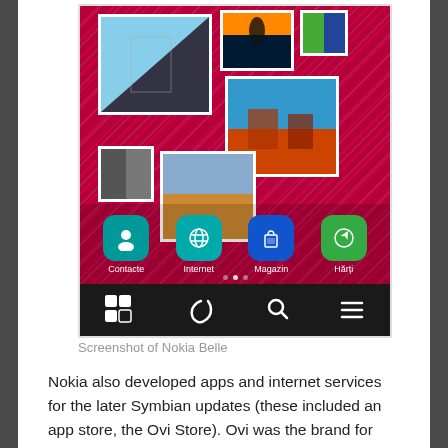[Figure (screenshot): Screenshot of Nokia Belle mobile OS interface showing photo thumbnails on a red/pink background with app icons (Contacte, Internet, Magazin, Hărți) and bottom navigation bar]
Screenshot of Nokia Belle
Nokia also developed apps and internet services for the later Symbian updates (these included an app store, the Ovi Store). Ovi was the brand for many of these apps and services. Among the Ovi apps, there was Ovi Maps, later renamed to Nokia Maps in 2011